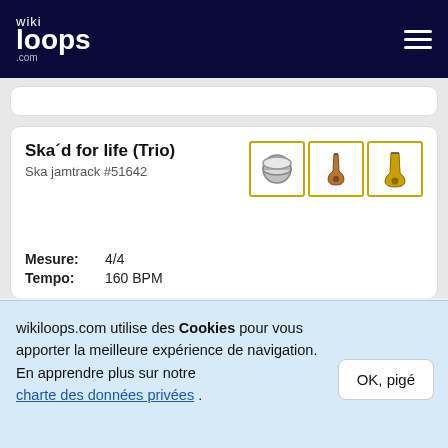wikiloops.com
[partial card at top]
Ska´d for life (Trio)
Ska jamtrack #51642
Mesure: 4/4
Tempo: 160 BPM
Gets tuff - More Brass
Ska jamtrack #142963
wikiloops.com utilise des Cookies pour vous apporter la meilleure expérience de navigation. En apprendre plus sur notre charte des données privées .
OK, pigé